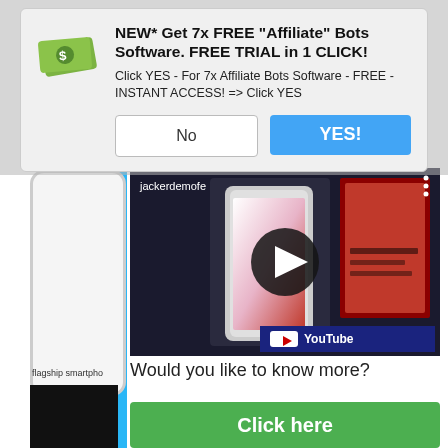[Figure (screenshot): Modal dialog popup over a webpage. The dialog has a green money icon, bold title 'NEW* Get 7x FREE "Affiliate" Bots Software. FREE TRIAL in 1 CLICK!', body text 'Click YES - For 7x Affiliate Bots Software - FREE - INSTANT ACCESS! => Click YES', and two buttons: 'No' (white) and 'YES!' (blue).]
[Figure (screenshot): YouTube video thumbnail showing smartphones and a movie poster with a play button overlay and 'jackerdemofe' channel label. YouTube logo visible in bottom right.]
Would you like to know more?
[Figure (other): Green button labeled 'Click here']